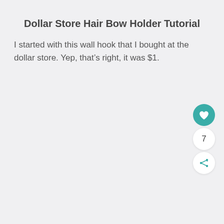Dollar Store Hair Bow Holder Tutorial
I started with this wall hook that I bought at the dollar store. Yep, that’s right, it was $1.